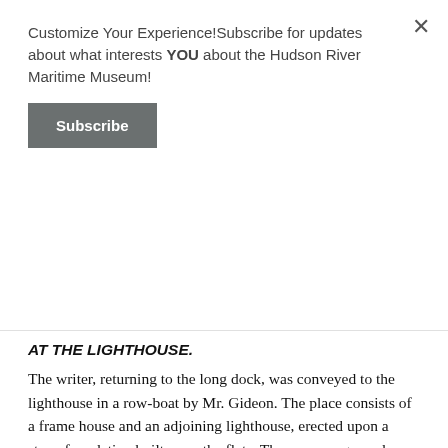Customize Your Experience!Subscribe for updates about what interests YOU about the Hudson River Maritime Museum!
Subscribe
AT THE LIGHTHOUSE.
The writer, returning to the long dock, was conveyed to the lighthouse in a row-boat by Mr. Gideon. The place consists of a frame house and an adjoining lighthouse, erected upon a stone foundation built upon the flats. There are no grounds around the house, and consequently no opportunity for raising anything. Stone steps extend in the south side of the masonry to the water, and up these the writer ascended. Several raps at the front door failed to meet with any response, and the reporter walked around the narrow stonework to a side door. A single knock at this brought to the door a young lady, who was evidently surprised at the